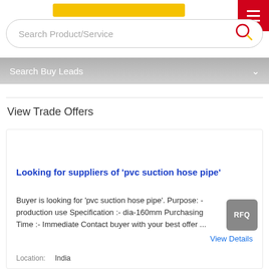[Figure (screenshot): Search box with placeholder text 'Search Product/Service' and a red circular search icon on the right, with a yellow bar and red hamburger menu in top-right corner]
Search Buy Leads
View Trade Offers
Looking for suppliers of 'pvc suction hose pipe'
Buyer is looking for 'pvc suction hose pipe'. Purpose: -production use Specification :- dia-160mm Purchasing Time :- Immediate Contact buyer with your best offer ...
View Details
Location:    India